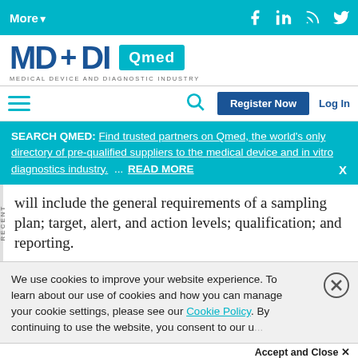More▼
[Figure (logo): MD+DI Qmed logo - Medical Device and Diagnostic Industry]
Register Now | Log In
SEARCH QMED: Find trusted partners on Qmed, the world's only directory of pre-qualified suppliers to the medical device and in vitro diagnostics industry. ... READ MORE X
will include the general requirements of a sampling plan; target, alert, and action levels; qualification; and reporting.
We use cookies to improve your website experience. To learn about our use of cookies and how you can manage your cookie settings, please see our Cookie Policy. By continuing to use the website, you consent to our use...
Accept and Close ✕
Your browser settings do not allow cross-site tracking for advertising. Click on this page to allow AdRoll to use cross-site tracking to tailor ads to you. Learn more or opt out of this AdRoll tracking by clicking here. This message only appears once.